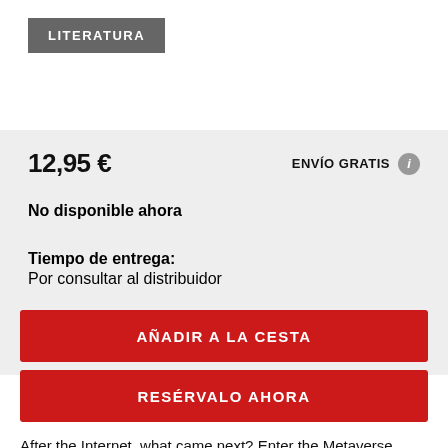LITERATURA
12,95 €
ENVÍO GRATIS
No disponible ahora
Tiempo de entrega:
Por consultar al distribuidor
AÑADIR A LA CESTA
RESÉRVALO AHORA
After the Internet, what came next? Enter the Metaverse